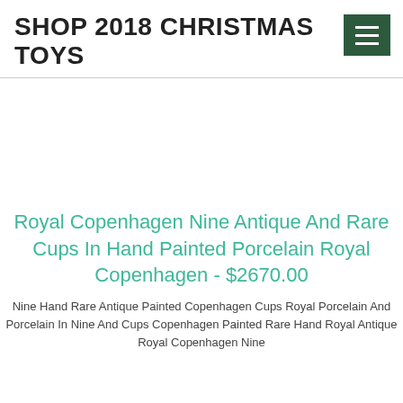SHOP 2018 CHRISTMAS TOYS
Royal Copenhagen Nine Antique And Rare Cups In Hand Painted Porcelain Royal Copenhagen - $2670.00
Nine Hand Rare Antique Painted Copenhagen Cups Royal Porcelain And Porcelain In Nine And Cups Copenhagen Painted Rare Hand Royal Antique Royal Copenhagen Nine